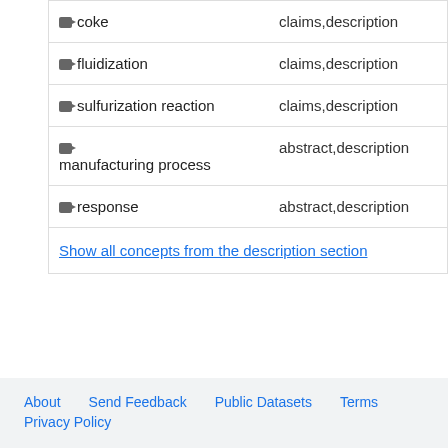| Concept | Found in |
| --- | --- |
| coke | claims,description |
| fluidization | claims,description |
| sulfurization reaction | claims,description |
| manufacturing process | abstract,description |
| response | abstract,description |
| Show all concepts from the description section |  |
About   Send Feedback   Public Datasets   Terms
Privacy Policy